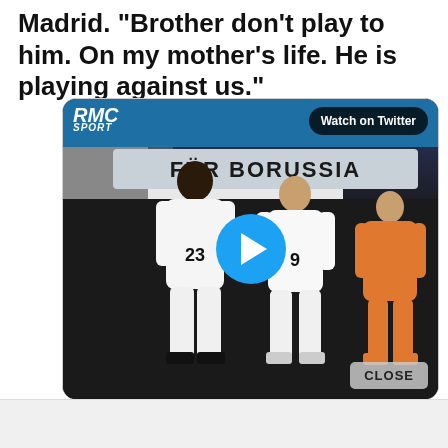Madrid. "Brother don't play to him. On my mother's life. He is playing against us."
[Figure (screenshot): A Twitter/social media embedded video still from RMC Sport showing Real Madrid players (numbers 23 and 9 in white kits) walking in a stadium tunnel with a 'FÜR BORUSSIA' sign visible. A blue play button is centered on the image. A 'Watch on Twitter' button appears top-right and a 'CLOSE' button bottom-right.]